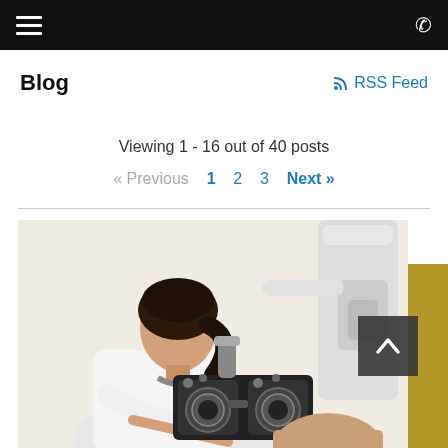Blog | RSS Feed
Viewing 1 - 16 out of 40 posts
« Previous  1  2  3  Next »
[Figure (photo): Female optometrist or eye doctor examining a patient using a phoropter / refractor instrument in a clinical setting. The doctor is wearing a white lab coat and the optical equipment is visible in the foreground.]